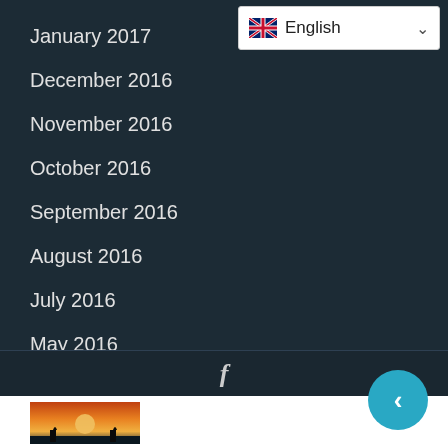January 2017
December 2016
November 2016
October 2016
September 2016
August 2016
July 2016
May 2016
April 2016
[Figure (screenshot): Language selector widget showing UK flag and 'English' text with dropdown arrow]
[Figure (screenshot): Facebook icon 'f' in footer dark bar]
[Figure (screenshot): Circular cyan back/left arrow button]
[Figure (photo): Thumbnail photo of sunset over water with silhouettes of people]